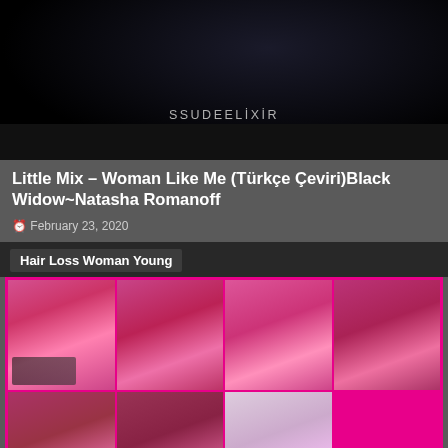[Figure (screenshot): Dark video thumbnail with text 'SSUDEELİXİR' overlaid in the center-bottom area, black background with dark bar at bottom]
Little Mix – Woman Like Me (Türkçe Çeviri)Black Widow~Natasha Romanoff
February 23, 2020
Hair Loss Woman Young
[Figure (photo): Grid of 7 photos showing a young person with pink hair getting their head shaved progressively. Top row: 4 photos showing full pink bob, side view, shaving beginning, and partial shave. Bottom row (3 photos visible): further shaving stages and fully shaved head. Pink magenta border around the grid.]